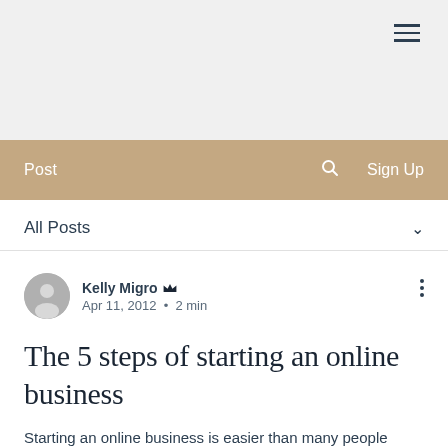≡ (hamburger menu icon)
Post  🔍  Sign Up
All Posts  ∨
Kelly Migro 👑
Apr 11, 2012  •  2 min
The 5 steps of starting an online business
Starting an online business is easier than many people think.
1. Coming up with a product is the first